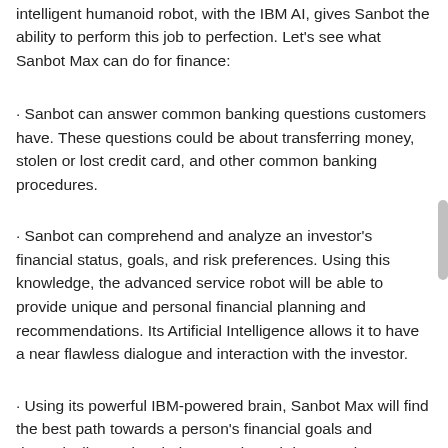customized to be the financial service assistant. The intelligent humanoid robot, with the IBM AI, gives Sanbot the ability to perform this job to perfection. Let's see what Sanbot Max can do for finance:
· Sanbot can answer common banking questions customers have. These questions could be about transferring money, stolen or lost credit card, and other common banking procedures.
· Sanbot can comprehend and analyze an investor's financial status, goals, and risk preferences. Using this knowledge, the advanced service robot will be able to provide unique and personal financial planning and recommendations. Its Artificial Intelligence allows it to have a near flawless dialogue and interaction with the investor.
· Using its powerful IBM-powered brain, Sanbot Max will find the best path towards a person's financial goals and dynamically monitor their assets in real-time. Sanbot Max's brain also gives it the ability to use this